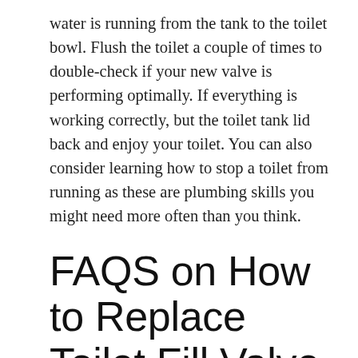water is running from the tank to the toilet bowl. Flush the toilet a couple of times to double-check if your new valve is performing optimally. If everything is working correctly, but the toilet tank lid back and enjoy your toilet. You can also consider learning how to stop a toilet from running as these are plumbing skills you might need more often than you think.
FAQS on How to Replace Toilet Fill Valve
How do you know a bad fill valve?